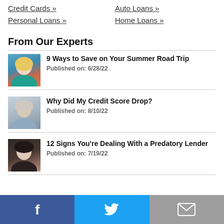Credit Cards »
Auto Loans »
Personal Loans »
Home Loans »
From Our Experts
9 Ways to Save on Your Summer Road Trip
Published on: 6/28/22
Why Did My Credit Score Drop?
Published on: 8/10/22
12 Signs You're Dealing With a Predatory Lender
Published on: 7/19/22
Facebook | Twitter | Email